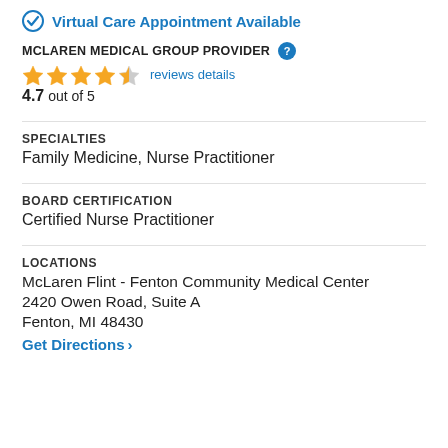Virtual Care Appointment Available
MCLAREN MEDICAL GROUP PROVIDER
4.7 out of 5  reviews details
SPECIALTIES
Family Medicine, Nurse Practitioner
BOARD CERTIFICATION
Certified Nurse Practitioner
LOCATIONS
McLaren Flint - Fenton Community Medical Center
2420 Owen Road, Suite A
Fenton, MI 48430
Get Directions >